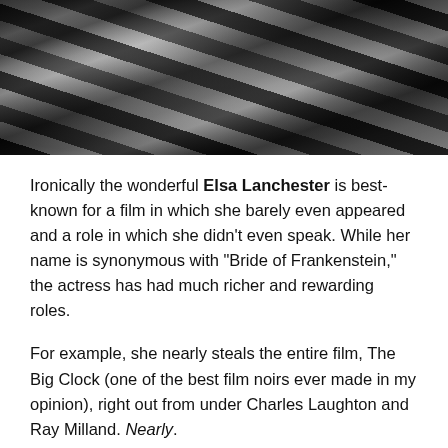[Figure (photo): Black and white photograph showing a person with striped and leather accessories, cropped at the top of the page.]
Ironically the wonderful Elsa Lanchester is best-known for a film in which she barely even appeared and a role in which she didn't even speak. While her name is synonymous with “Bride of Frankenstein,” the actress has had much richer and rewarding roles.
For example, she nearly steals the entire film, The Big Clock (one of the best film noirs ever made in my opinion), right out from under Charles Laughton and Ray Milland. Nearly.
She was an uncommonly talented actress with a special